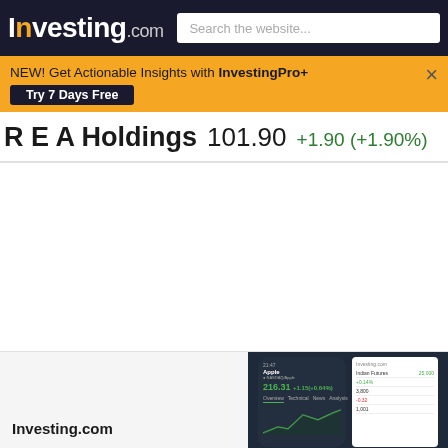Investing.com  Search the website...
NEW! Get Actionable Insights with InvestingPro+ Try 7 Days Free
R E A Holdings  101.90  +1.90 (+1.90%)
[Figure (screenshot): Investing.com app screenshot showing Apple stock price on mobile and desktop]
Investing.com
Blog
RE_p Comments